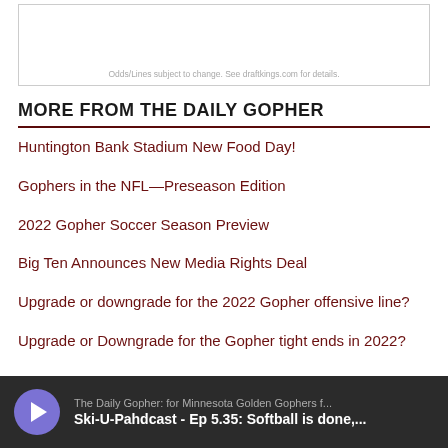[Figure (other): Advertisement box with disclaimer text: Odds/Lines subject to change. See draftkings.com for details.]
Odds/Lines subject to change. See draftkings.com for details.
MORE FROM THE DAILY GOPHER
Huntington Bank Stadium New Food Day!
Gophers in the NFL—Preseason Edition
2022 Gopher Soccer Season Preview
Big Ten Announces New Media Rights Deal
Upgrade or downgrade for the 2022 Gopher offensive line?
Upgrade or Downgrade for the Gopher tight ends in 2022?
[Figure (other): Podcast player bar showing play button and episode info: The Daily Gopher: for Minnesota Golden Gophers f... | Ski-U-Pahdcast - Ep 5.35: Softball is done,...]